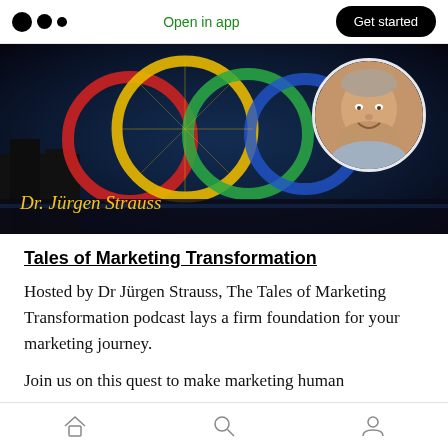Open in app | Get started
[Figure (photo): Hero image with colorful bicycle wheel rings installation against a dark background, with a circular portrait of Dr. Jürgen Strauss on the right side. Text overlay reads 'Dr. Jürgen Strauss' in yellow italic.]
Tales of Marketing Transformation
Hosted by Dr Jürgen Strauss, The Tales of Marketing Transformation podcast lays a firm foundation for your marketing journey.
Join us on this quest to make marketing human
Home | Search | Profile